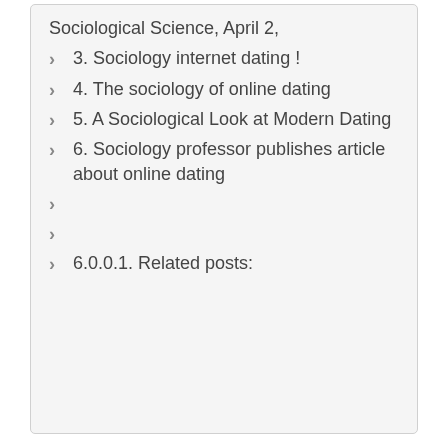Sociological Science, April 2,
3. Sociology internet dating !
4. The sociology of online dating
5. A Sociological Look at Modern Dating
6. Sociology professor publishes article about online dating
6.0.0.1. Related posts:
Content
σούπα λαχανικών θερμίδες ΑΕΕ
Data Protection Choices